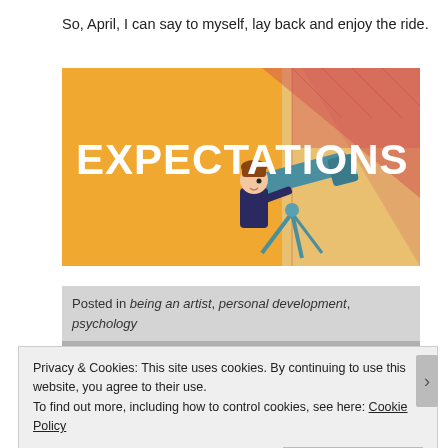So, April, I can say to myself, lay back and enjoy the ride.
[Figure (illustration): Illustration banner with orange background showing the word EXPECTATIONS in large white bold text, and a cartoon character looking through a telescope pointed at a red/orange target on the right.]
Posted in being an artist, personal development, psychology
Tagged Cognitive Behavioural Therapy, expectations, personal development, psychology, training
Privacy & Cookies: This site uses cookies. By continuing to use this website, you agree to their use.
To find out more, including how to control cookies, see here: Cookie Policy
Close and accept